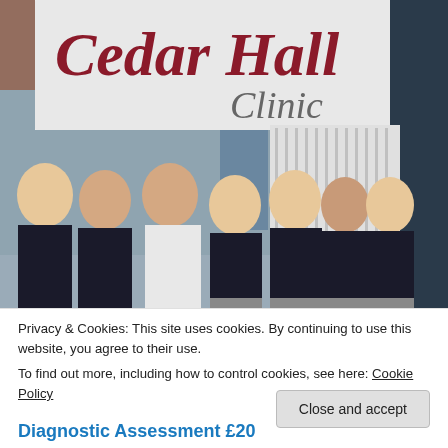[Figure (photo): Group photo of 7 clinic staff (6 women in dark nurse uniforms with white trim, 1 man in white shirt) standing outside Cedar Hall Clinic with the clinic sign visible above them.]
Privacy & Cookies: This site uses cookies. By continuing to use this website, you agree to their use.
To find out more, including how to control cookies, see here: Cookie Policy
Close and accept
Diagnostic Assessment £20